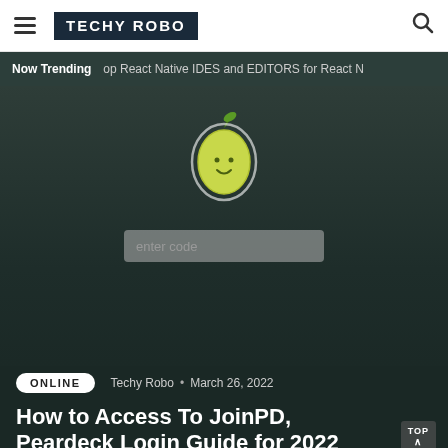TECHY ROBO
Now Trending   op React Native IDES and EDITORS for React N
[Figure (illustration): Peardeck pear mascot logo: a green pear with a smiling face and leaf on top, inside a dark circular border, displayed on a dark teal background with an 'enter code' input field below it]
ONLINE
Techy Robo • March 26, 2022
How to Access To JoinPD, Peardeck Login Guide for 2022